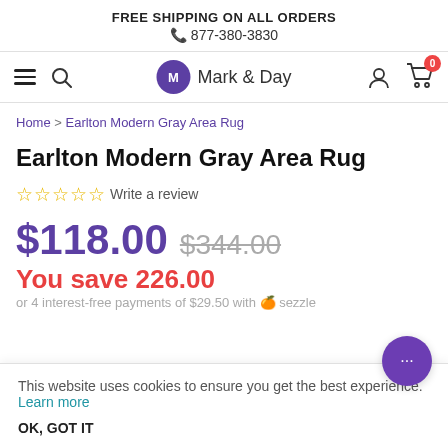FREE SHIPPING ON ALL ORDERS
📞 877-380-3830
[Figure (screenshot): Navigation bar with hamburger menu, search icon, Mark & Day logo, user icon, and cart icon with 0 badge]
Home > Earlton Modern Gray Area Rug
Earlton Modern Gray Area Rug
☆☆☆☆☆ Write a review
$118.00  $344.00
You save 226.00
or 4 interest-free payments of $29.50 with 🍊 sezzle
This website uses cookies to ensure you get the best experience. Learn more
OK, GOT IT